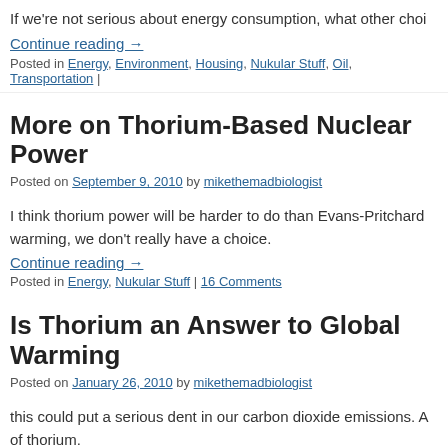If we're not serious about energy consumption, what other choi…
Continue reading →
Posted in Energy, Environment, Housing, Nukular Stuff, Oil, Transportation | …
More on Thorium-Based Nuclear Power
Posted on September 9, 2010 by mikethemadbiologist
I think thorium power will be harder to do than Evans-Pritchard… warming, we don't really have a choice.
Continue reading →
Posted in Energy, Nukular Stuff | 16 Comments
Is Thorium an Answer to Global Warming…
Posted on January 26, 2010 by mikethemadbiologist
this could put a serious dent in our carbon dioxide emissions. A… of thorium.